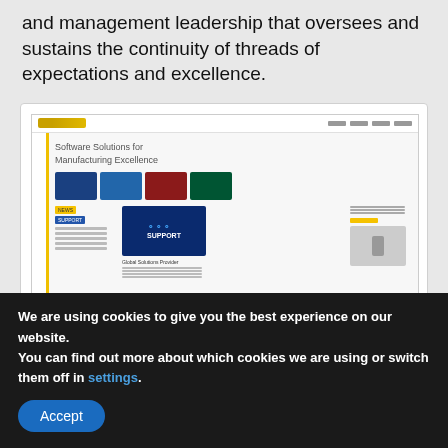and management leadership that oversees and sustains the continuity of threads of expectations and excellence.
[Figure (screenshot): Screenshot of the CAMLINE website showing 'Software Solutions for Manufacturing Excellence' with navigation, product images, a news section, and a support banner.]
CAMLINE
STRIKEDART
Strikedart About Strikedart state the state name of...
We are using cookies to give you the best experience on our website.
You can find out more about which cookies we are using or switch them off in settings.
Accept